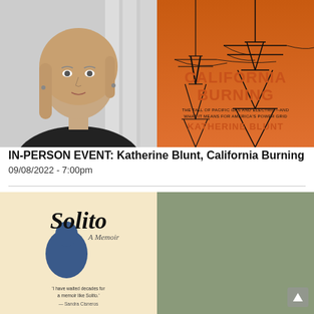[Figure (photo): Black and white portrait photo of a woman (Katherine Blunt) with shoulder-length blonde hair, wearing a black top, against a blurred light background.]
[Figure (photo): Book cover of 'California Burning: The Fall of Pacific Gas and Electric—And What It Means for America's Power Grid' by Katherine Blunt. Orange background with silhouetted electrical transmission towers in black.]
IN-PERSON EVENT: Katherine Blunt, California Burning
09/08/2022 - 7:00pm
[Figure (photo): Book cover of 'Solito: A Memoir' on a light cream/tan background with a blue silhouette figure and handwritten subtitle. Quote at bottom references Sandra Cisneros.]
[Figure (photo): Partial portrait photo of a man with curly dark hair against an outdoor background with mountains, cropped at the top of the head and face.]